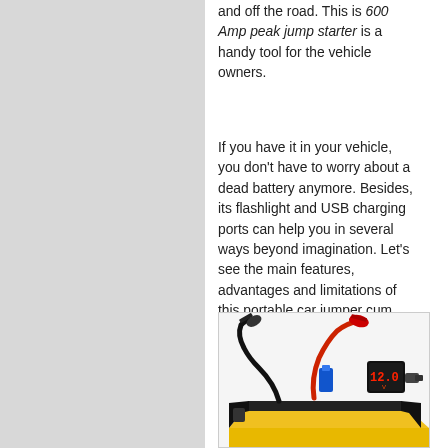and off the road. This is 600 Amp peak jump starter is a handy tool for the vehicle owners.
If you have it in your vehicle, you don't have to worry about a dead battery anymore. Besides, its flashlight and USB charging ports can help you in several ways beyond imagination. Let's see the main features, advantages and limitations of this portable car jumper cum charger unit.
[Figure (photo): Photo of a portable car jump starter device showing battery clamps (red and black) connected to a yellow and black compact power bank unit with a digital display showing 12.0V]